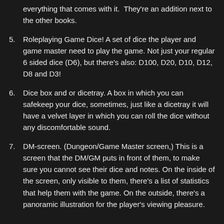everything that comes with it.  They're an addition next to the other books.
5. Roleplaying Game Dice! A set of dice the player and game master need to play the game. Not just your regular 6 sided dice (D6), but there's also: D100, D20, D10, D12, D8 and D3!
6. Dice box and or dicetray. A box in which you can safekeep your dice, sometimes, just like a dicetray it will have a velvet layer in which you can roll the dice without any discomfortable sound.
7. DM-screen. (Dungeon/Game Master screen,) This is a screen that the DM/GM puts in front of them, to make sure you cannot see their dice and notes. On the inside of the screen, only visible to them, there's a list of statistics that help them with the game. On the outside, there's a panoramic illustration for the player's viewing pleasure.